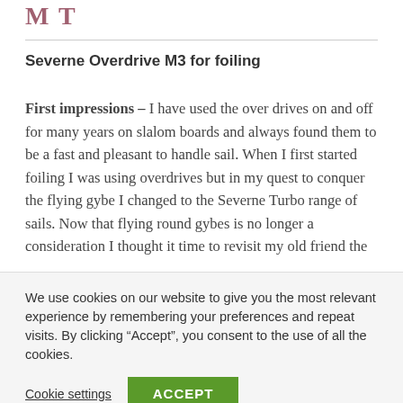M T
Severne Overdrive M3 for foiling
First impressions – I have used the over drives on and off for many years on slalom boards and always found them to be a fast and pleasant to handle sail. When I first started foiling I was using overdrives but in my quest to conquer the flying gybe I changed to the Severne Turbo range of sails. Now that flying round gybes is no longer a consideration I thought it time to revisit my old friend the
We use cookies on our website to give you the most relevant experience by remembering your preferences and repeat visits. By clicking “Accept”, you consent to the use of all the cookies.
Cookie settings  ACCEPT